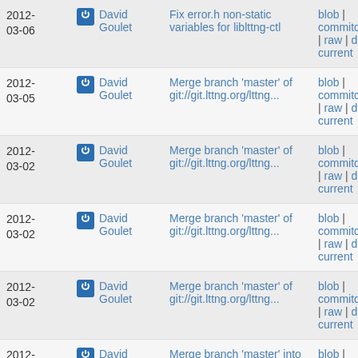| Date | Author | Commit message | Links |
| --- | --- | --- | --- |
| 2012-03-06 | David Goulet | Fix error.h non-static variables for liblttng-ctl | blob | commitdiff | raw | diff to current |
| 2012-03-05 | David Goulet | Merge branch 'master' of git://git.lttng.org/lttng... | blob | commitdiff | raw | diff to current |
| 2012-03-02 | David Goulet | Merge branch 'master' of git://git.lttng.org/lttng... | blob | commitdiff | raw | diff to current |
| 2012-03-02 | David Goulet | Merge branch 'master' of git://git.lttng.org/lttng... | blob | commitdiff | raw | diff to current |
| 2012-03-02 | David Goulet | Merge branch 'master' of git://git.lttng.org/lttng... | blob | commitdiff | raw | diff to current |
| 2012-03-01 | David Goulet | Merge branch 'master' into compat-... | blob | commitdiff |